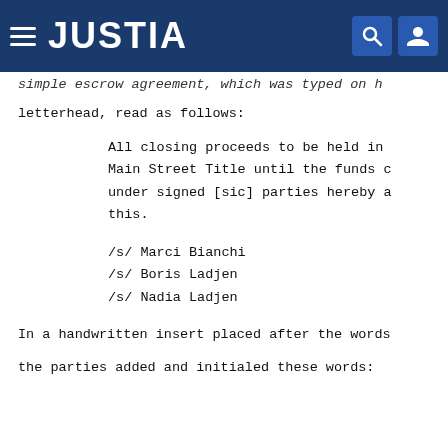JUSTIA
simple escrow agreement, which was typed on h
letterhead, read as follows:
All closing proceeds to be held in
Main Street Title until the funds c
under signed [sic] parties hereby a
this.
/s/ Marci Bianchi
/s/ Boris Ladjen
/s/ Nadia Ladjen
In a handwritten insert placed after the words
the parties added and initialed these words: